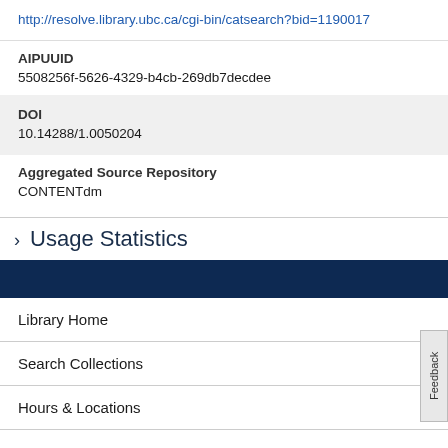http://resolve.library.ubc.ca/cgi-bin/catsearch?bid=1190017
AIPUUID
5508256f-5626-4329-b4cb-269db7decdee
DOI
10.14288/1.0050204
Aggregated Source Repository
CONTENTdm
> Usage Statistics
Library Home
Search Collections
Hours & Locations